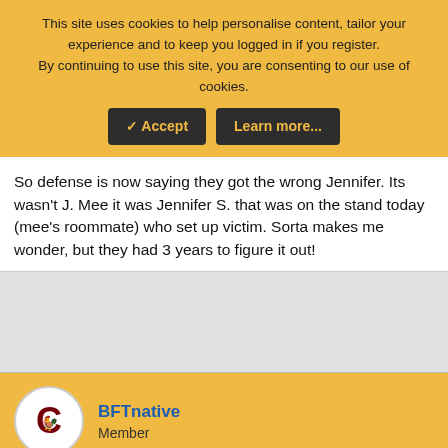This site uses cookies to help personalise content, tailor your experience and to keep you logged in if you register. By continuing to use this site, you are consenting to our use of cookies.
✓ Accept | Learn more...
So defense is now saying they got the wrong Jennifer. Its wasn't J. Mee it was Jennifer S. that was on the stand today (mee's roommate) who set up victim. Sorta makes me wonder, but they had 3 years to figure it out!
[Figure (other): Gray advertisement area placeholder]
BFTnative
Member
Sep 20, 2013  #111
Case given to Jury. Nothing was said if verdict will be live...